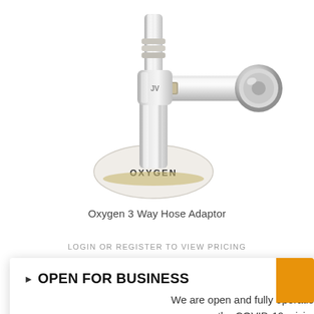[Figure (photo): Oxygen 3 Way Hose Adaptor product photo showing a chrome/silver angled valve fitting with white base labeled OXYGEN]
Oxygen 3 Way Hose Adaptor
LOGIN OR REGISTER TO VIEW PRICING
▶ OPEN FOR BUSINESS
We are open and fully operational during the COVID-19 crisis.